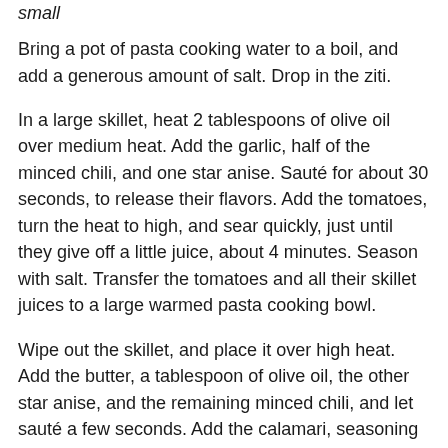small
Bring a pot of pasta cooking water to a boil, and add a generous amount of salt. Drop in the ziti.
In a large skillet, heat 2 tablespoons of olive oil over medium heat. Add the garlic, half of the minced chili, and one star anise. Sauté for about 30 seconds, to release their flavors. Add the tomatoes, turn the heat to high, and sear quickly, just until they give off a little juice, about 4 minutes. Season with salt. Transfer the tomatoes and all their skillet juices to a large warmed pasta cooking bowl.
Wipe out the skillet, and place it over high heat. Add the butter, a tablespoon of olive oil, the other star anise, and the remaining minced chili, and let sauté a few seconds. Add the calamari, seasoning it with the sugar (this will help it brown), and sauté very quickly, just until tender, about 1